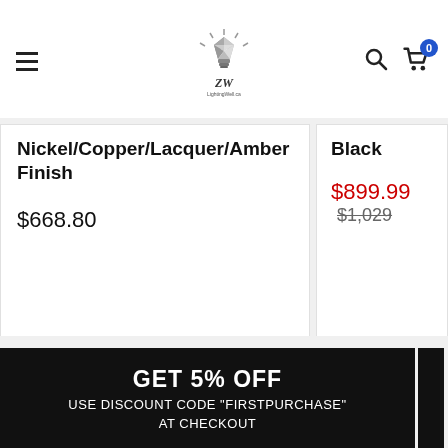LightingWell.ca navigation header with logo, search and cart icons
Nickel/Copper/Lacquer/Amber Finish
$668.80
Black
$899.99  $1,029
GET 5% OFF
USE DISCOUNT CODE "FIRSTPURCHASE"
AT CHECKOUT